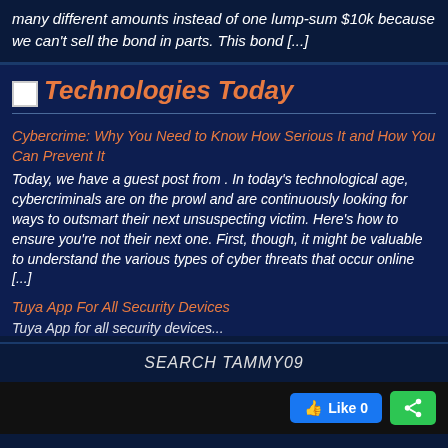many different amounts instead of one lump-sum $10k because we can't sell the bond in parts. This bond [...]
RSS Technologies Today
Cybercrime: Why You Need to Know How Serious It and How You Can Prevent It
Today, we have a guest post from . In today's technological age, cybercriminals are on the prowl and are continuously looking for ways to outsmart their next unsuspecting victim. Here's how to ensure you're not their next one. First, though, it might be valuable to understand the various types of cyber threats that occur online [...]
Tuya App For All Security Devices
Tuya App for all security devices...
SEARCH TAMMY09